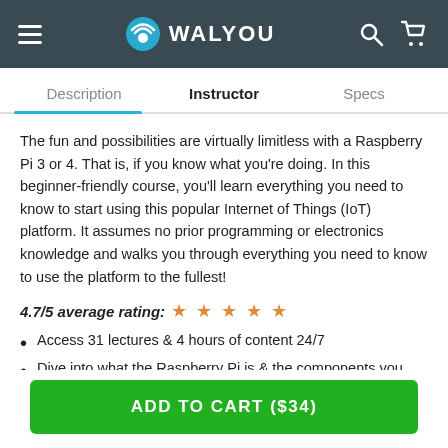WALYOU
Description | Instructor | Specs
The fun and possibilities are virtually limitless with a Raspberry Pi 3 or 4. That is, if you know what you're doing. In this beginner-friendly course, you'll learn everything you need to know to start using this popular Internet of Things (IoT) platform. It assumes no prior programming or electronics knowledge and walks you through everything you need to know to use the platform to the fullest!
4.7/5 average rating: ★ ★ ★ ★ ★
Access 31 lectures & 4 hours of content 24/7
Dive into what the Raspberry Pi is & the components you need
ADD TO CART ($34)